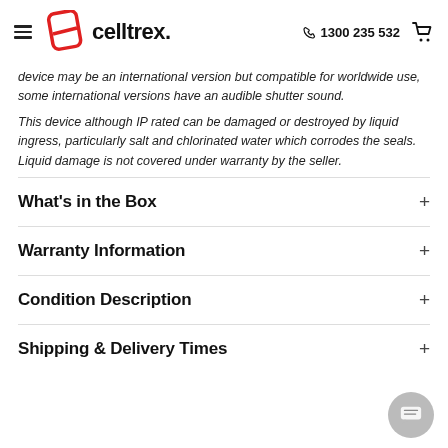celltrex. 1300 235 532
device may be an international version but compatible for worldwide use, some international versions have an audible shutter sound.
This device although IP rated can be damaged or destroyed by liquid ingress, particularly salt and chlorinated water which corrodes the seals. Liquid damage is not covered under warranty by the seller.
What's in the Box
Warranty Information
Condition Description
Shipping & Delivery Times